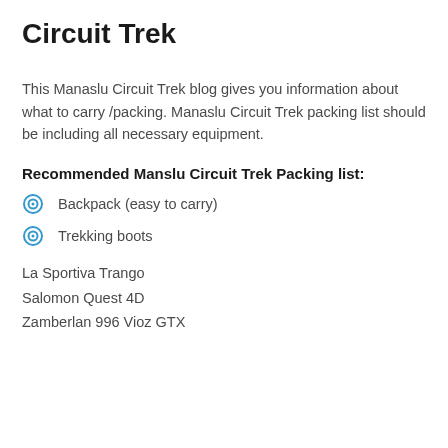Circuit Trek
This Manaslu Circuit Trek blog gives you information about what to carry /packing. Manaslu Circuit Trek packing list should be including all necessary equipment.
Recommended Manslu Circuit Trek Packing list:
Backpack (easy to carry)
Trekking boots
La Sportiva Trango
Salomon Quest 4D
Zamberlan 996 Vioz GTX